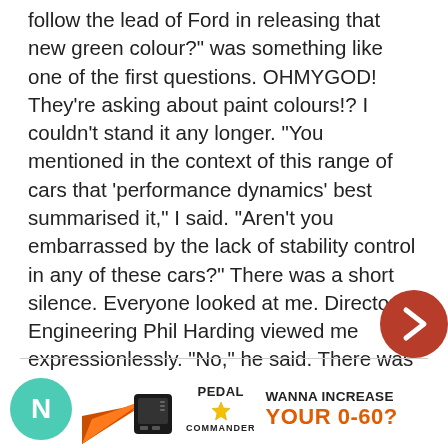follow the lead of Ford in releasing that new green colour?" was something like one of the first questions. OHMYGOD! They're asking about paint colours!? I couldn't stand it any longer. "You mentioned in the context of this range of cars that 'performance dynamics' best summarised it," I said. "Aren't you embarrassed by the lack of stability control in any of these cars?" There was a short silence. Everyone looked at me. Director of Engineering Phil Harding viewed me expressionlessly. "No," he said. There was another short silence. ' http://autospeed.com.au/cms/title_The-Spin-Circuit/A_111462/article.html
[Figure (other): Red circular navigation arrow button on right side]
[Figure (other): Advertisement for Pedal Commander showing teal avatar circle with N, orange/black graphic with device, Pedal Commander logo with star, and text WANNA INCREASE YOUR 0-60?]